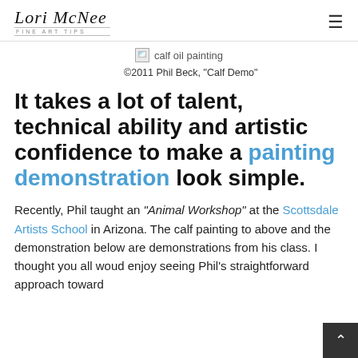Lori McNee Fine Art Tips
[Figure (photo): Broken image placeholder for calf oil painting with alt text 'calf oil painting']
©2011 Phil Beck, "Calf Demo"
It takes a lot of talent, technical ability and artistic confidence to make a painting demonstration look simple.
Recently, Phil taught an "Animal Workshop" at the Scottsdale Artists School in Arizona. The calf painting to above and the demonstration below are demonstrations from his class. I thought you all would enjoy seeing Phil's straightforward approach toward